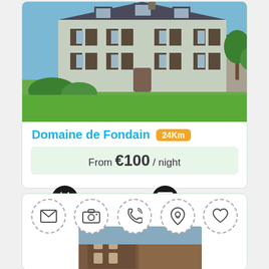[Figure (photo): Large French manor house with blue-grey shutters, green lawn, trees in background]
Domaine de Fondain 24Km
From €100 / night
Book Now
Contact
[Figure (photo): Partial view of second property listing with icons for message, camera, phone, location, and heart at top; stone building visible below]